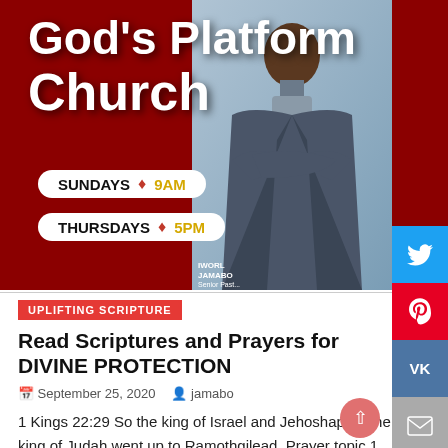[Figure (illustration): God's Platform Church banner with dark red background, church name in large white bold text, schedule pills showing SUNDAYS 9AM and THURSDAYS 5PM, and a photo of the senior pastor (Iworl Jamabo) in a suit on the right side]
Read Scriptures and Prayers for DIVINE PROTECTION
September 25, 2020   jamabo
1 Kings 22:29 So the king of Israel and Jehoshaphat the king of Judah went up to Ramothgilead. Prayer topic 1 *May God grant us divine direction concerning people we associate with* 1 Kings 22:30 And the king of Israel said unto Jehoshaphat, I will disguise myself, and enter into the battle; but put thou [...]